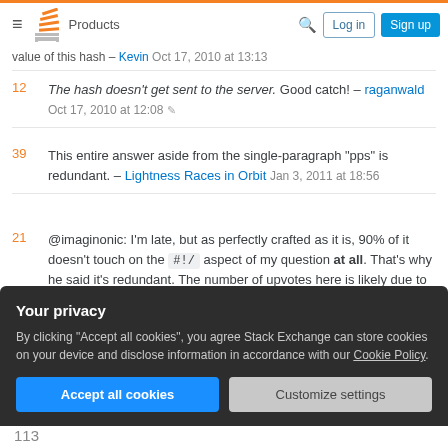Stack Overflow — Products | Log in | Sign up
value of this hash – Kevin Oct 17, 2010 at 13:13
12  The hash doesn't get sent to the server. Good catch! – raganwald Oct 17, 2010 at 12:08
39  This entire answer aside from the single-paragraph "pps" is redundant. – Lightness Races in Orbit Jan 3, 2011 at 18:56
21  @imaginonic: I'm late, but as perfectly crafted as it is, 90% of it doesn't touch on the #! aspect of my question at all. That's why he said it's redundant. The number of upvotes here is likely due to the high traffic when my question made it to Hacker News coupled with the sheer length alone of this answer.
Your privacy
By clicking "Accept all cookies", you agree Stack Exchange can store cookies on your device and disclose information in accordance with our Cookie Policy.
Accept all cookies   Customize settings
113